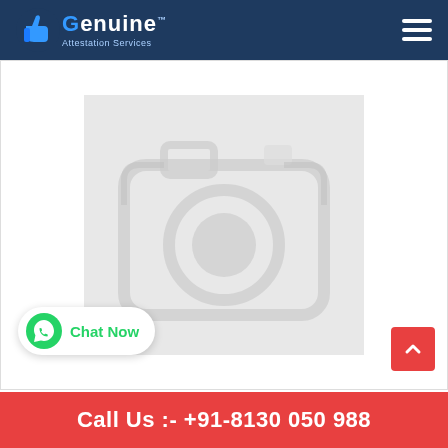Genuine Attestation Services
[Figure (photo): Placeholder image with a camera icon on a light grey/white blurred background]
Attestation is required for Qatar?
[Figure (other): WhatsApp Chat Now widget button]
Call Us :- +91-8130 050 988